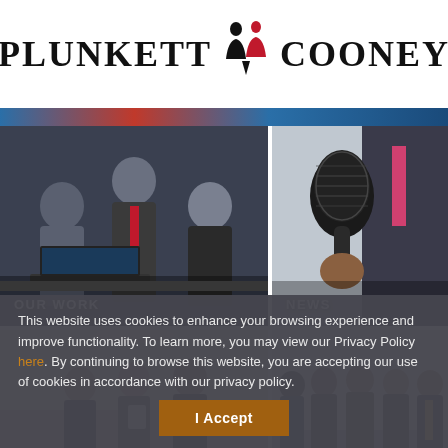[Figure (logo): Plunkett Cooney law firm logo with stylized figure icon between the two name halves]
[Figure (photo): Top blue/red color strip background]
[Figure (photo): Three businessmen looking at documents on a laptop, labeled OUR WORK]
[Figure (photo): Person in suit holding a microphone toward camera, labeled NEWS]
[Figure (photo): Three people in a lobby/office setting with a tablet]
[Figure (photo): Group of five attorneys posing in office lobby]
This website uses cookies to enhance your browsing experience and improve functionality. To learn more, you may view our Privacy Policy here. By continuing to browse this website, you are accepting our use of cookies in accordance with our privacy policy.
I Accept